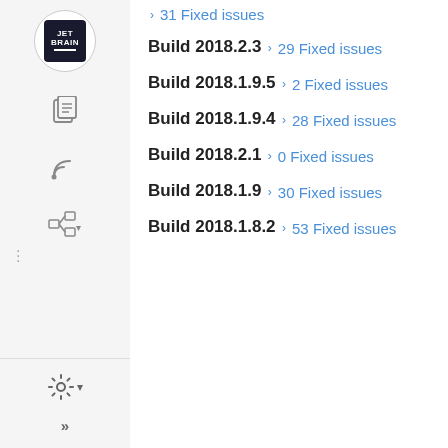31 Fixed issues
Build 2018.2.3
29 Fixed issues
Build 2018.1.9.5
2 Fixed issues
Build 2018.1.9.4
28 Fixed issues
Build 2018.2.1
0 Fixed issues
Build 2018.1.9
30 Fixed issues
Build 2018.1.8.2
53 Fixed issues